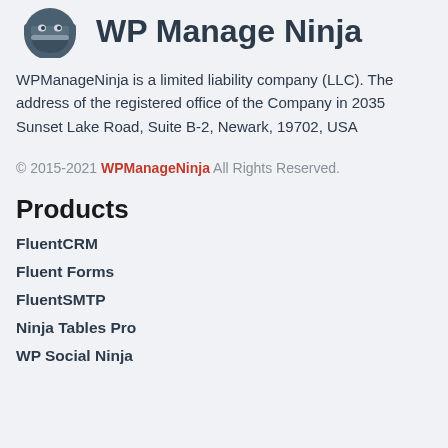[Figure (logo): WP Manage Ninja logo: circular ninja face icon in dark teal/slate color on left, bold dark text 'WP Manage Ninja' on right]
WPManageNinja is a limited liability company (LLC). The address of the registered office of the Company in 2035 Sunset Lake Road, Suite B-2, Newark, 19702, USA
© 2015-2021 WPManageNinja All Rights Reserved.
Products
FluentCRM
Fluent Forms
FluentSMTP
Ninja Tables Pro
WP Social Ninja